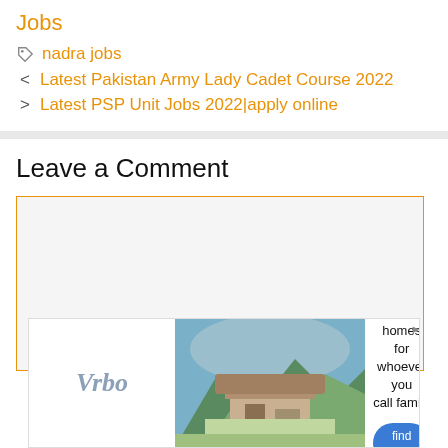Jobs
nadra jobs
< Latest Pakistan Army Lady Cadet Course 2022
> Latest PSP Unit Jobs 2022|apply online
Leave a Comment
[Figure (other): Vrbo advertisement banner showing a mountain vacation home, text: Vacation homes for whoever you call family, button: find yours]